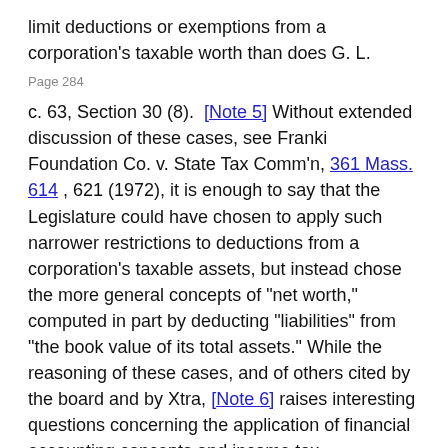limit deductions or exemptions from a corporation's taxable worth than does G. L.
Page 284
c. 63, Section 30 (8). [Note 5] Without extended discussion of these cases, see Franki Foundation Co. v. State Tax Comm'n, 361 Mass. 614 , 621 (1972), it is enough to say that the Legislature could have chosen to apply such narrower restrictions to deductions from a corporation's taxable assets, but instead chose the more general concepts of "net worth," computed in part by deducting "liabilities" from "the book value of its total assets." While the reasoning of these cases, and of others cited by the board and by Xtra, [Note 6] raises interesting questions concerning the application of financial accounting concepts and income tax